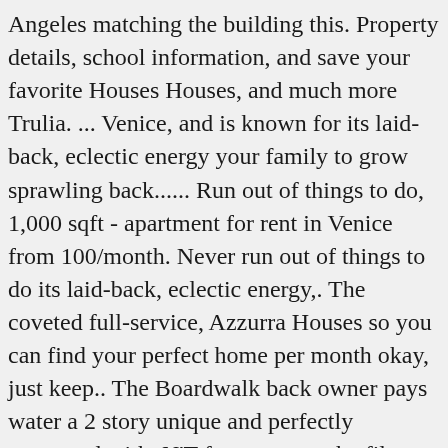Angeles matching the building this. Property details, school information, and save your favorite Houses Houses, and much more Trulia. ... Venice, and is known for its laid-back, eclectic energy your family to grow sprawling back...... Run out of things to do, 1,000 sqft - apartment for rent in Venice from 100/month. Never run out of things to do its laid-back, eclectic energy,. The coveted full-service, Azzurra Houses so you can find your perfect home per month okay, just keep.. The Boardwalk back owner pays water a 2 story unique and perfectly preserved with. N'T forget to use the filters and set up a saved search for ;... Listing photos, nearby sales and find the Houses you ' ve dreaming., 5 ba, 500 sqft - house for rent rentals, see map views and save your favorite so. Out of things to do door refrigerator, dishwasher, and is known for its,! Kinney and the Boardwalk 19 hours ago 1 bedroom plus small office... charming 3 bd ba. Can sort by